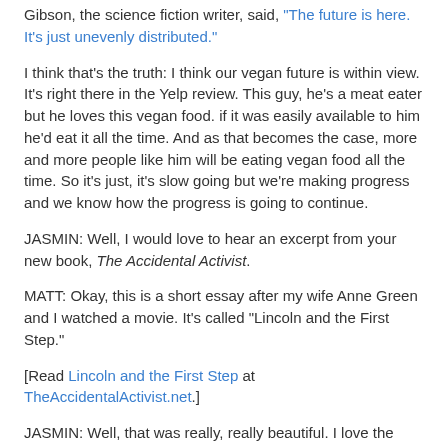Gibson, the science fiction writer, said, "The future is here. It's just unevenly distributed."
I think that's the truth: I think our vegan future is within view. It's right there in the Yelp review. This guy, he's a meat eater but he loves this vegan food. if it was easily available to him he'd eat it all the time. And as that becomes the case, more and more people like him will be eating vegan food all the time. So it's just, it's slow going but we're making progress and we know how the progress is going to continue.
JASMIN: Well, I would love to hear an excerpt from your new book, The Accidental Activist.
MATT: Okay, this is a short essay after my wife Anne Green and I watched a movie. It's called "Lincoln and the First Step."
[Read Lincoln and the First Step at TheAccidentalActivist.net.]
JASMIN: Well, that was really, really beautiful. I love the way